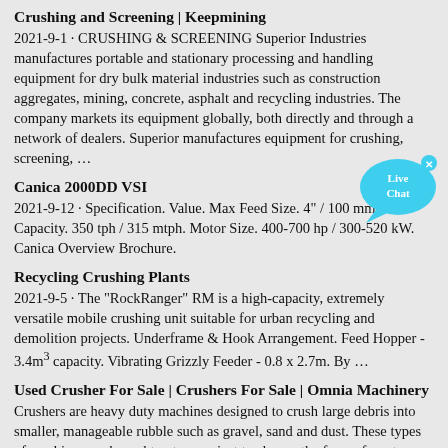Crushing and Screening | Keepmining
2021-9-1 · CRUSHING & SCREENING Superior Industries manufactures portable and stationary processing and handling equipment for dry bulk material industries such as construction aggregates, mining, concrete, asphalt and recycling industries. The company markets its equipment globally, both directly and through a network of dealers. Superior manufactures equipment for crushing, screening, …
Canica 2000DD VSI
2021-9-12 · Specification. Value. Max Feed Size. 4" / 100 mm. Capacity. 350 tph / 315 mtph. Motor Size. 400-700 hp / 300-520 kW. Canica Overview Brochure.
[Figure (illustration): Live Chat bubble icon in cyan/teal color with 'Live Chat' text and a small x button]
Recycling Crushing Plants
2021-9-5 · The "RockRanger" RM is a high-capacity, extremely versatile mobile crushing unit suitable for urban recycling and demolition projects. Underframe & Hook Arrangement. Feed Hopper - 3.4m³ capacity. Vibrating Grizzly Feeder - 0.8 x 2.7m. By …
Used Crusher For Sale | Crushers For Sale | Omnia Machinery
Crushers are heavy duty machines designed to crush large debris into smaller, manageable rubble such as gravel, sand and dust. These types of machines are brought onto a project to change the form of waste materials, ensuring they can be disposed of or recycled accordingly. At Omnia Machinery we